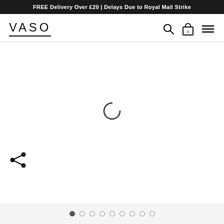FREE Delivery Over £20 | Delays Due to Royal Mail Strike
[Figure (logo): VASO brand logo with underline]
[Figure (infographic): Navigation icons: search, shopping bag with 0, hamburger menu]
[Figure (other): Loading spinner (partial circle arc) in center of product image area]
[Figure (other): Share icon (network/social share symbol) at bottom left]
[Figure (other): Dot navigation row with 9 dots, first dot filled/active]